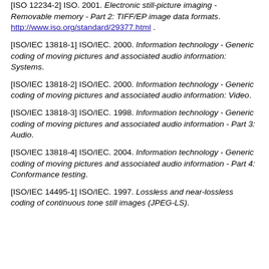[ISO 12234-2] ISO. 2001. Electronic still-picture imaging - Removable memory - Part 2: TIFF/EP image data formats. http://www.iso.org/standard/29377.html .
[ISO/IEC 13818-1] ISO/IEC. 2000. Information technology - Generic coding of moving pictures and associated audio information: Systems.
[ISO/IEC 13818-2] ISO/IEC. 2000. Information technology - Generic coding of moving pictures and associated audio information: Video.
[ISO/IEC 13818-3] ISO/IEC. 1998. Information technology - Generic coding of moving pictures and associated audio information - Part 3: Audio.
[ISO/IEC 13818-4] ISO/IEC. 2004. Information technology - Generic coding of moving pictures and associated audio information - Part 4: Conformance testing.
[ISO/IEC 14495-1] ISO/IEC. 1997. Lossless and near-lossless coding of continuous tone still images (JPEG-LS).